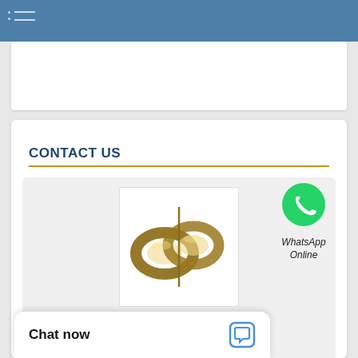Navigation bar with hamburger menu
[Figure (photo): Oil seals / rings product image showing golden/bronze colored oil seals]
CONTACT US
Cr Oil Seals INC
Address
[Figure (logo): WhatsApp green phone icon bubble with text 'WhatsApp Online']
Chat now